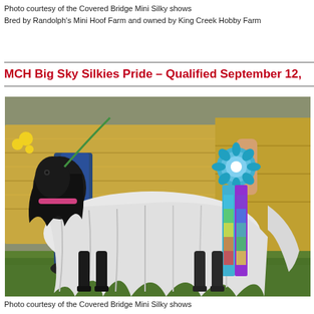Photo courtesy of the Covered Bridge Mini Silky shows
Bred by Randolph's Mini Hoof Farm and owned by King Creek Hobby Farm
MCH Big Sky Silkies Pride – Qualified September 12,
[Figure (photo): A silky fainting goat with long black and white hair wearing a pink collar and holding a large blue and rainbow show ribbon rosette, being displayed by a person in jeans in front of hay bales on grass.]
Photo courtesy of the Covered Bridge Mini Silky shows